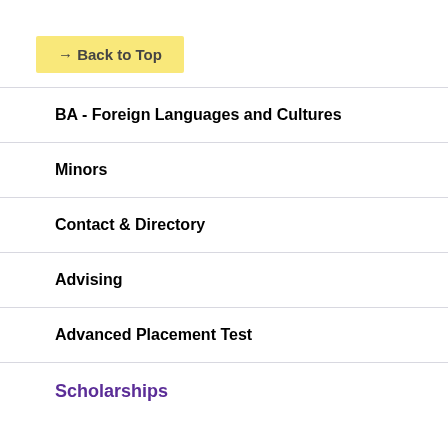→ Back to Top
BA - Foreign Languages and Cultures
Minors
Contact & Directory
Advising
Advanced Placement Test
Scholarships